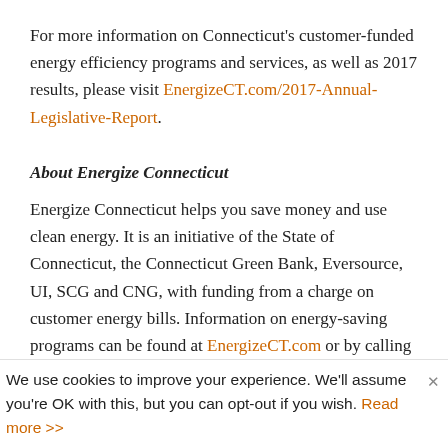For more information on Connecticut's customer-funded energy efficiency programs and services, as well as 2017 results, please visit EnergizeCT.com/2017-Annual-Legislative-Report.
About Energize Connecticut
Energize Connecticut helps you save money and use clean energy. It is an initiative of the State of Connecticut, the Connecticut Green Bank, Eversource, UI, SCG and CNG, with funding from a charge on customer energy bills. Information on energy-saving programs can be found at EnergizeCT.com or by calling 877.WISE.USE.
###
We use cookies to improve your experience. We'll assume you're OK with this, but you can opt-out if you wish. Read more >>